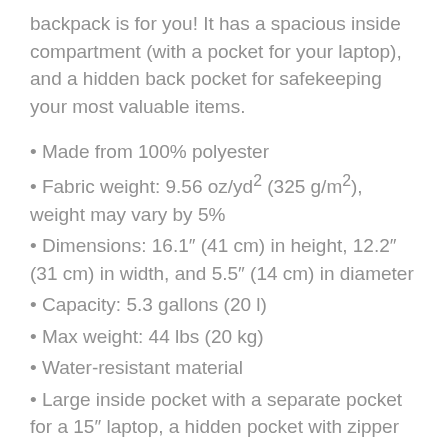backpack is for you! It has a spacious inside compartment (with a pocket for your laptop), and a hidden back pocket for safekeeping your most valuable items.
Made from 100% polyester
Fabric weight: 9.56 oz/yd² (325 g/m²), weight may vary by 5%
Dimensions: 16.1″ (41 cm) in height, 12.2″ (31 cm) in width, and 5.5″ (14 cm) in diameter
Capacity: 5.3 gallons (20 l)
Max weight: 44 lbs (20 kg)
Water-resistant material
Large inside pocket with a separate pocket for a 15″ laptop, a hidden pocket with zipper on the back of the bag
Top zipper has 2 sliders, and there are zipper pullers attached to each slider
Silky lining, piped inside hems, and a soft mesh